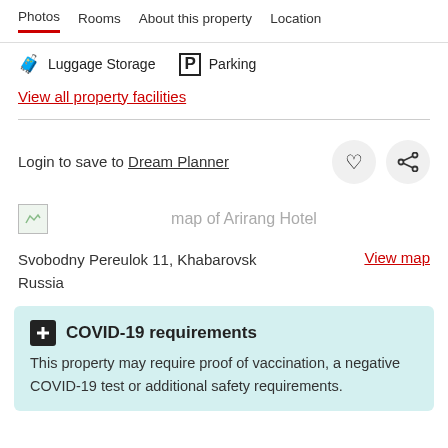Photos  Rooms  About this property  Location
🧳 Luggage Storage   P Parking
View all property facilities
Login to save to Dream Planner
[Figure (map): map of Arirang Hotel]
Svobodny Pereulok 11, Khabarovsk
Russia
View map
COVID-19 requirements
This property may require proof of vaccination, a negative COVID-19 test or additional safety requirements.